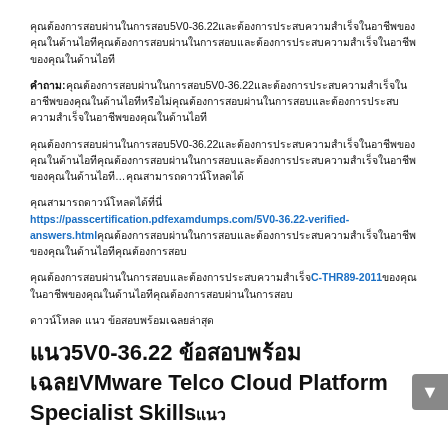คุณต้องการสอบผ่านในการสอบ5V0-36.22และต้องการประสบความสำเร็จในอาชีพของคุณในด้านไอที
คำถาม:คุณต้องการสอบผ่านในการสอบ5V0-36.22และต้องการประสบความสำเร็จในอาชีพของคุณในด้านไอทีหรือไม่
คุณต้องการสอบผ่านในการสอบ5V0-36.22และต้องการประสบความสำเร็จในอาชีพของคุณในด้านไอที…คุณสามารถดาวน์โหลดได้
คุณสามารถดาวน์โหลดได้ที่นี่
https://passcertification.pdfexamdumps.com/5V0-36.22-verified-answers.htmlคุณต้องการสอบผ่านในการสอบและต้องการประสบความสำเร็จในอาชีพของคุณในด้านไอที
คุณต้องการสอบผ่านในการสอบและต้องการประสบความสำเร็จC-THR89-2011ของคุณในอาชีพของคุณในด้านไอที
ดาวน์โหลด แนว ข้อสอบพร้อมเฉลยล่าสุด
แนว5V0-36.22 ข้อสอบพร้อมเฉลยVMware Telco Cloud Platform Specialist Skills แนว